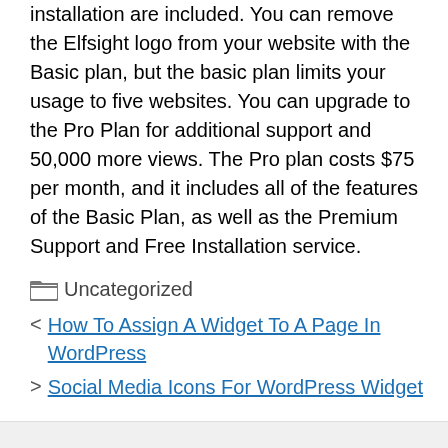installation are included. You can remove the Elfsight logo from your website with the Basic plan, but the basic plan limits your usage to five websites. You can upgrade to the Pro Plan for additional support and 50,000 more views. The Pro plan costs $75 per month, and it includes all of the features of the Basic Plan, as well as the Premium Support and Free Installation service.
Uncategorized
How To Assign A Widget To A Page In WordPress
Social Media Icons For WordPress Widget